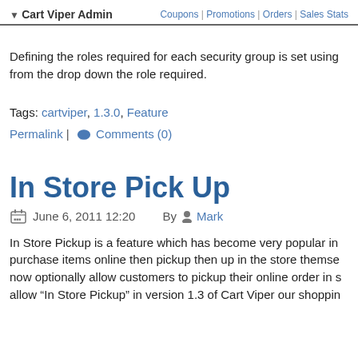Cart Viper Admin | Coupons | Promotions | Orders | Sales Stats
Defining the roles required for each security group is set using from the drop down the role required.
Tags: cartviper, 1.3.0, Feature
Permalink | Comments (0)
In Store Pick Up
June 6, 2011 12:20   By Mark
In Store Pickup is a feature which has become very popular in purchase items online then pickup then up in the store themselves now optionally allow customers to pickup their online order in s allow “In Store Pickup” in version 1.3 of Cart Viper our shoppin